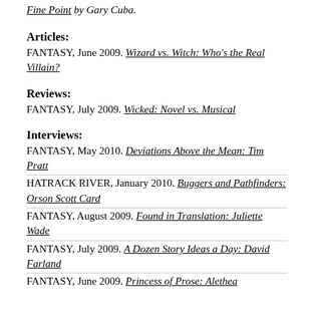Fine Point by Gary Cuba.
Articles:
FANTASY, June 2009. Wizard vs. Witch: Who's the Real Villain?
Reviews:
FANTASY, July 2009. Wicked: Novel vs. Musical
Interviews:
FANTASY, May 2010. Deviations Above the Mean: Tim Pratt
HATRACK RIVER, January 2010. Buggers and Pathfinders: Orson Scott Card
FANTASY, August 2009. Found in Translation: Juliette Wade
FANTASY, July 2009. A Dozen Story Ideas a Day: David Farland
FANTASY, June 2009. Princess of Prose: Alethea